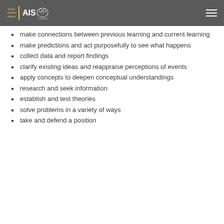AIS Lusaka — Every student thrives
make connections between previous learning and current learning
make predictions and act purposefully to see what happens
collect data and report findings
clarify existing ideas and reappraise perceptions of events
apply concepts to deepen conceptual understandings
research and seek information
establish and test theories
solve problems in a variety of ways
take and defend a position